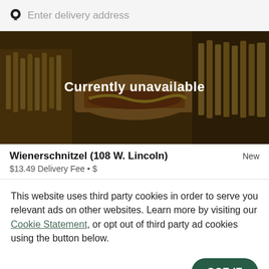Enter delivery address
[Figure (photo): Food photo showing fries, hot dogs and toppings with dark overlay and text 'Currently unavailable']
Wienerschnitzel (108 W. Lincoln)
$13.49 Delivery Fee • $
This website uses third party cookies in order to serve you relevant ads on other websites. Learn more by visiting our Cookie Statement, or opt out of third party ad cookies using the button below.
OPT OUT
GOT IT